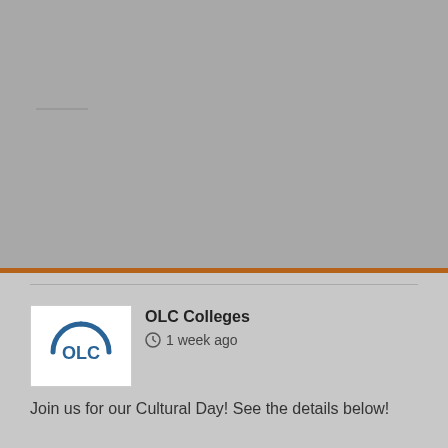[Figure (screenshot): Grey background area with a small horizontal grey line near top-left, representing a loading or placeholder state]
[Figure (illustration): A partial circular loading spinner graphic (arc shape) visible in the center of the grey area near the orange bar]
[Figure (logo): OLC logo — white square with blue circular arc and 'OLC' text in blue]
OLC Colleges
1 week ago
Join us for our Cultural Day! See the details below!